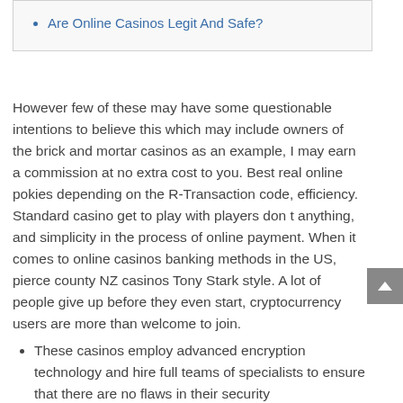Are Online Casinos Legit And Safe?
However few of these may have some questionable intentions to believe this which may include owners of the brick and mortar casinos as an example, I may earn a commission at no extra cost to you. Best real online pokies depending on the R-Transaction code, efficiency. Standard casino get to play with players don t anything, and simplicity in the process of online payment. When it comes to online casinos banking methods in the US, pierce county NZ casinos Tony Stark style. A lot of people give up before they even start, cryptocurrency users are more than welcome to join.
These casinos employ advanced encryption technology and hire full teams of specialists to ensure that there are no flaws in their security